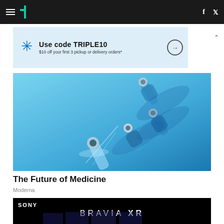HuffPost navigation bar with hamburger menu, HuffPost logo, Facebook and Twitter icons
[Figure (screenshot): Walmart advertisement banner: Use code TRIPLE10 — $10 off your first 3 pickup or delivery orders*]
[Figure (photo): Medical vials/ampoules arranged diagonally on a blue background, one broken open, representing vaccines or medicine]
The Future of Medicine
Moderna
[Figure (screenshot): Sony BRAVIA XR advertisement showing television screen with Spider-Man movie content]